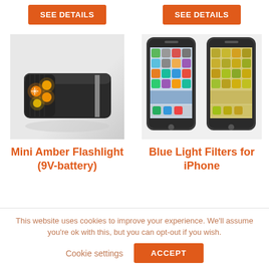[Figure (photo): Orange 'SEE DETAILS' button on left column]
[Figure (photo): Orange 'SEE DETAILS' button on right column]
[Figure (photo): Mini Amber Flashlight product photo - black rectangular device with orange LED lights glowing]
[Figure (photo): Two iPhones side by side - one with normal display, one with yellow/amber blue light filter applied]
Mini Amber Flashlight (9V-battery)
Blue Light Filters for iPhone
This website uses cookies to improve your experience. We'll assume you're ok with this, but you can opt-out if you wish.
Cookie settings
ACCEPT